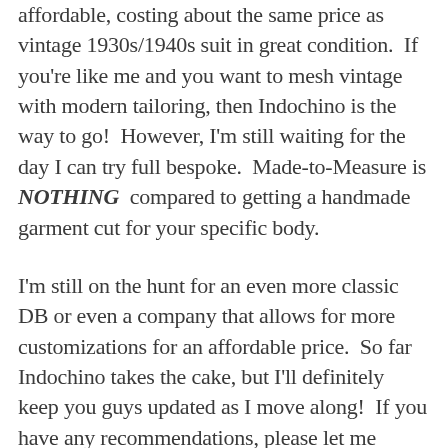affordable, costing about the same price as vintage 1930s/1940s suit in great condition.  If you're like me and you want to mesh vintage with modern tailoring, then Indochino is the way to go!  However, I'm still waiting for the day I can try full bespoke.  Made-to-Measure is NOTHING compared to getting a handmade garment cut for your specific body.
I'm still on the hunt for an even more classic DB or even a company that allows for more customizations for an affordable price.  So far Indochino takes the cake, but I'll definitely keep you guys updated as I move along!  If you have any recommendations, please let me know!  Comment below if you have any questions or questions.